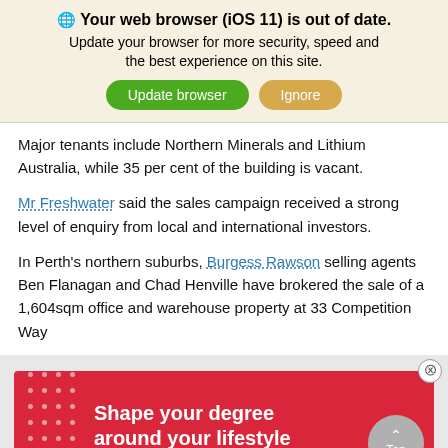Your web browser (iOS 11) is out of date.
Update your browser for more security, speed and the best experience on this site.
Major tenants include Northern Minerals and Lithium Australia, while 35 per cent of the building is vacant.
Mr Freshwater said the sales campaign received a strong level of enquiry from local and international investors.
In Perth's northern suburbs, Burgess Rawson selling agents Ben Flanagan and Chad Henville have brokered the sale of a 1,604sqm office and warehouse property at 33 Competition Way
[Figure (infographic): Red advertisement banner reading 'Shape your degree around your lifestyle' with white dot pattern on left side]